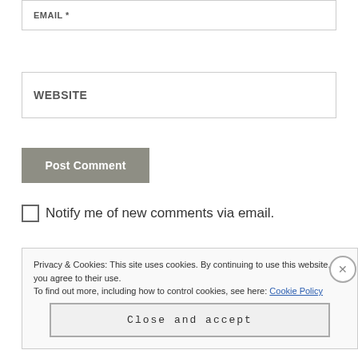EMAIL *
WEBSITE
Post Comment
Notify me of new comments via email.
Privacy & Cookies: This site uses cookies. By continuing to use this website, you agree to their use. To find out more, including how to control cookies, see here: Cookie Policy
Close and accept